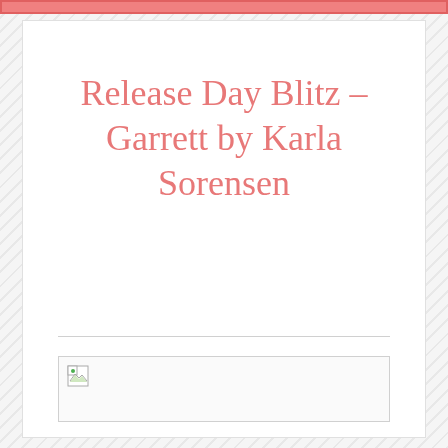Release Day Blitz – Garrett by Karla Sorensen
[Figure (photo): Broken/missing image placeholder for book cover or promotional image]